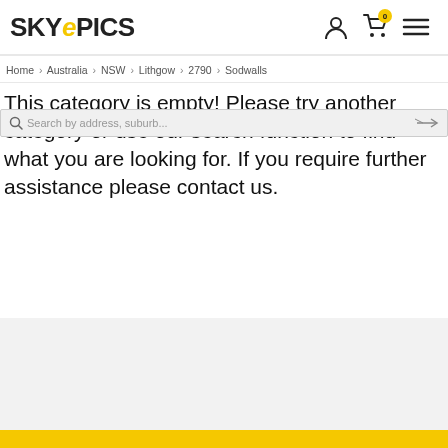SKYEPICS
Home > Australia > NSW > Lithgow > 2790 > Sodwalls
This category is empty! Please try another category or use our search function to find what you are looking for. If you require further assistance please contact us.